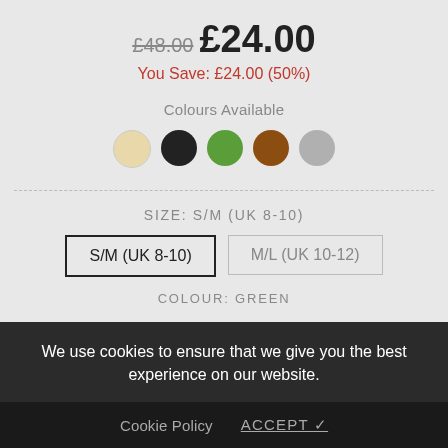£48.00 £24.00
You Save: £24.00 (50%)
Colours Available
[Figure (other): Five colour swatches: cream, black, green, brown, grey]
SIZE: S/M (UK 8-10)
S/M (UK 8-10)
M/L (UK 10-12)
COLOUR: GREEN
We use cookies to ensure that we give you the best experience on our website.
Cookie Policy  ACCEPT ✓